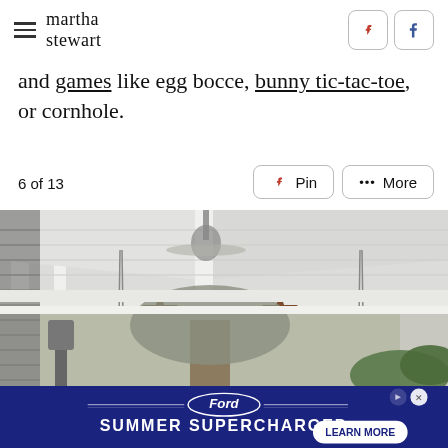martha stewart
and games like egg bocce, bunny tic-tac-toe, or cornhole.
6 of 13
[Figure (photo): Covered porch with white beamed ceiling, a ceiling fan, two rustic metal star decorations, hanging chains with plants, louvered shutters on left, and a large tree visible in the background]
[Figure (other): Ford Summer Supercharged advertisement banner with Learn More button]